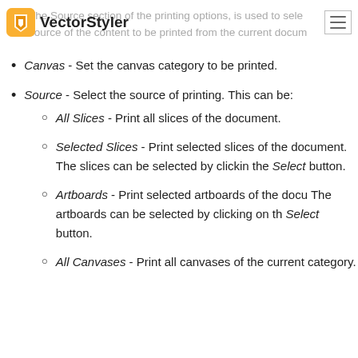VectorStyler
The Source section of the printing options, is used to select the source of the content to be printed from the current document.
Canvas - Set the canvas category to be printed.
Source - Select the source of printing. This can be:
All Slices - Print all slices of the document.
Selected Slices - Print selected slices of the document. The slices can be selected by clicking the Select button.
Artboards - Print selected artboards of the document. The artboards can be selected by clicking on the Select button.
All Canvases - Print all canvases of the current category.